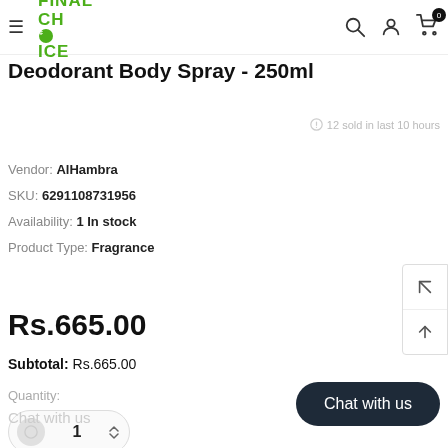Final Choice — navigation header with logo, search, user, and cart icons
Deodorant Body Spray - 250ml
12 sold in last 10 hours
Vendor: AlHambra
SKU: 6291108731956
Availability: 1 In stock
Product Type: Fragrance
Rs.665.00
Subtotal: Rs.665.00
Quantity:
Chat with us